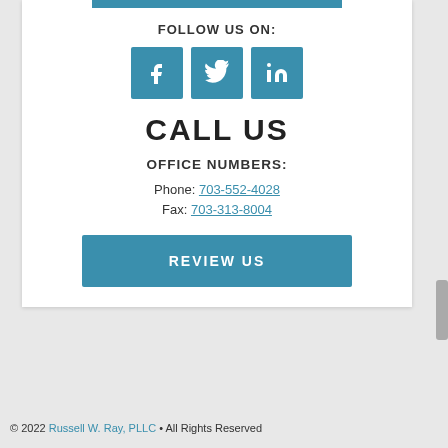FOLLOW US ON:
[Figure (illustration): Three social media icons: Facebook (f), Twitter (bird), LinkedIn (in) — all on teal/blue square backgrounds]
CALL US
OFFICE NUMBERS:
Phone: 703-552-4028
Fax: 703-313-8004
REVIEW US
© 2022 Russell W. Ray, PLLC • All Rights Reserved